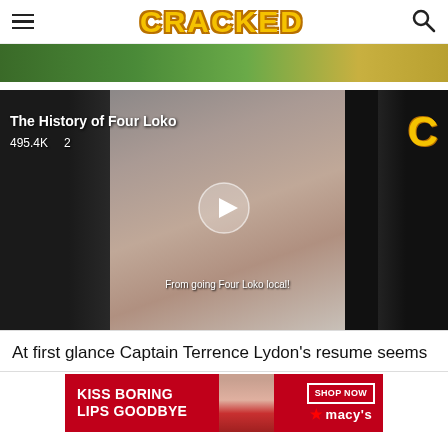CRACKED
[Figure (screenshot): Top cropped image showing green/yellow colored scene]
[Figure (screenshot): Video thumbnail for 'The History of Four Loko' showing a young man holding a microphone, with play button overlay, view count 495.4K, and the number 2. Caption: From going Four Loko local! Cracked C logo in top right.]
At first glance Captain Terrence Lydon's resume seems
[Figure (screenshot): Advertisement banner: KISS BORING LIPS GOODBYE with a face showing red lips, SHOP NOW button, and Macy's star logo]